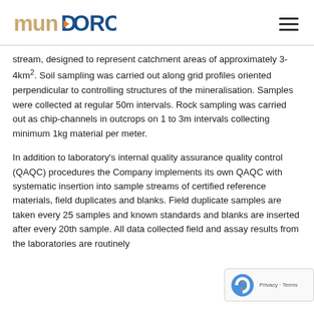MUNDORO
stream, designed to represent catchment areas of approximately 3-4km². Soil sampling was carried out along grid profiles oriented perpendicular to controlling structures of the mineralisation. Samples were collected at regular 50m intervals. Rock sampling was carried out as chip-channels in outcrops on 1 to 3m intervals collecting minimum 1kg material per meter.
In addition to laboratory's internal quality assurance quality control (QAQC) procedures the Company implements its own QAQC with systematic insertion into sample streams of certified reference materials, field duplicates and blanks. Field duplicate samples are taken every 25 samples and known standards and blanks are inserted after every 20th sample. All data collected field and assay results from the laboratories are routinely